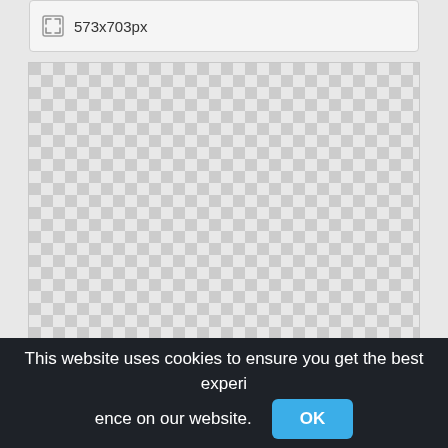[Figure (screenshot): Toolbar showing resize icon and image dimensions text '573x703px' on a light gray background]
[Figure (other): Checkerboard transparent-background pattern area representing an empty/transparent image canvas]
This website uses cookies to ensure you get the best experience on our website.
OK